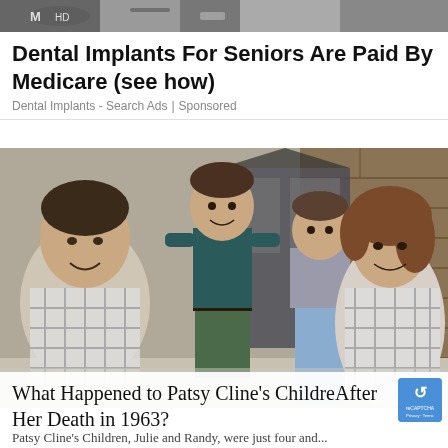[Figure (photo): Top banner photo strip showing dental-related image, partially cropped]
Dental Implants For Seniors Are Paid By Medicare (see how)
Dental Implants - Search Ads | Sponsored
[Figure (photo): Family photo showing a man, two young children standing, and a woman posing in front of a brick building with a door. Vintage style photo from approximately 1970s-1980s.]
What Happened to Patsy Cline's Children After Her Death in 1963?
Patsy Cline's Children, Julie and Randy, were just four and...